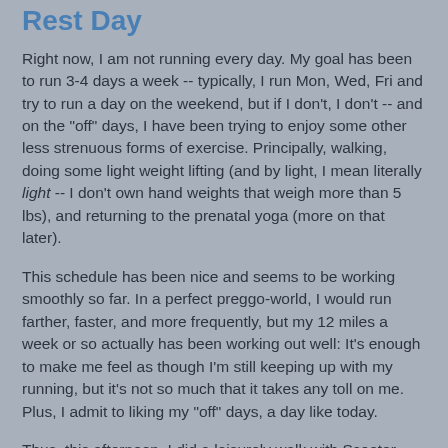Rest Day
Right now, I am not running every day. My goal has been to run 3-4 days a week -- typically, I run Mon, Wed, Fri and try to run a day on the weekend, but if I don't, I don't -- and on the "off" days, I have been trying to enjoy some other less strenuous forms of exercise. Principally, walking, doing some light weight lifting (and by light, I mean literally light -- I don't own hand weights that weigh more than 5 lbs), and returning to the prenatal yoga (more on that later).
This schedule has been nice and seems to be working smoothly so far. In a perfect preggo-world, I would run farther, faster, and more frequently, but my 12 miles a week or so actually has been working out well: It's enough to make me feel as though I'm still keeping up with my running, but it's not so much that it takes any toll on me. Plus, I admit to liking my "off" days, a day like today.
Thus, this afternoon, I did a leisurely walk with Scooter -- and you have to really emphasize the "leisure" part of this because with Scooter, it's "walk, walk, walk, stop and sniff for